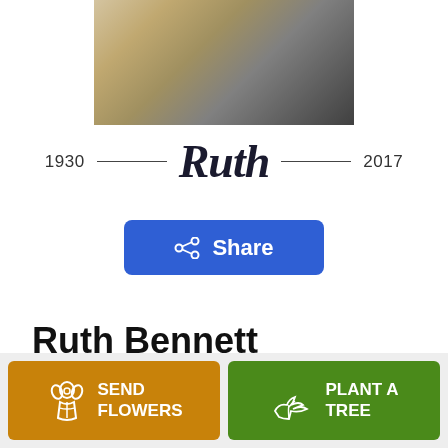[Figure (photo): Partial photo of Ruth Bennett, showing a person holding a cane, wearing dark clothing, cropped at the top of the page]
1930 — Ruth — 2017
Share
Ruth Bennett
December 19, 1930 — December 8, 2017
SEND FLOWERS
PLANT A TREE